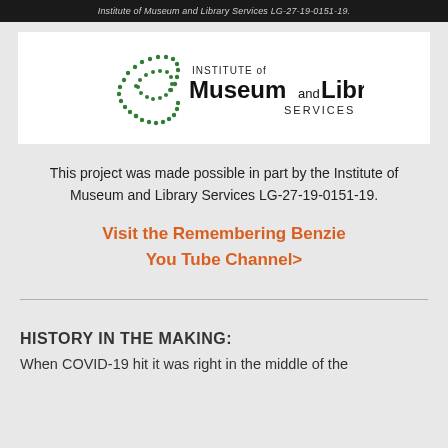Institute of Museum and Library Services LG-27-19-0151-19.
[Figure (logo): Institute of Museum and Library Services logo with green dot pattern and black text]
This project was made possible in part by the Institute of Museum and Library Services LG-27-19-0151-19.
Visit the Remembering Benzie You Tube Channel>
HISTORY IN THE MAKING:
When COVID-19 hit it was right in the middle of the